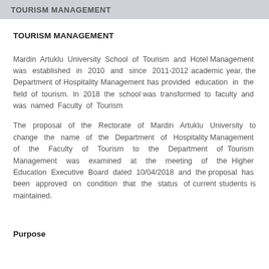TOURISM MANAGEMENT
TOURISM MANAGEMENT
Mardin Artuklu University School of Tourism and Hotel Management was established in 2010 and since 2011-2012 academic year, the Department of Hospitality Management has provided education in the field of tourism. In 2018 the school was transformed to faculty and was named Faculty of Tourism
The proposal of the Rectorate of Mardin Artuklu University to change the name of the Department of Hospitality Management of the Faculty of Tourism to the Department of Tourism Management was examined at the meeting of the Higher Education Executive Board dated 10/04/2018 and the proposal has been approved on condition that the status of current students is maintained.
Purpose